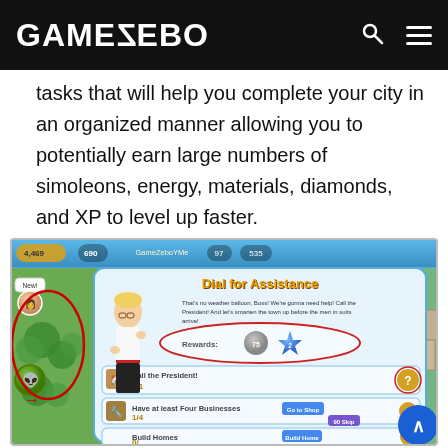GAMEZEBO
tasks that will help you complete your city in an organized manner allowing you to potentially earn large numbers of simoleons, energy, materials, diamonds, and XP to level up faster.
[Figure (screenshot): Screenshot of a mobile game (The Sims Social or similar city-building game) showing a 'Dial for Assistance' quest dialog with rewards, character/sim on screen, city background, tasks including 'Call the President!', 'Have at least Four Businesses', and 'Build Homes'. Red circles highlight certain UI elements. A scroll-to-top button appears in the bottom right.]